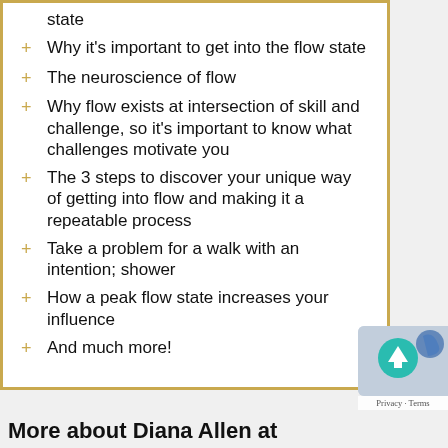state
Why it's important to get into the flow state
The neuroscience of flow
Why flow exists at intersection of skill and challenge, so it's important to know what challenges motivate you
The 3 steps to discover your unique way of getting into flow and making it a repeatable process
Take a problem for a walk with an intention; shower
How a peak flow state increases your influence
And much more!
More about Diana Allen at